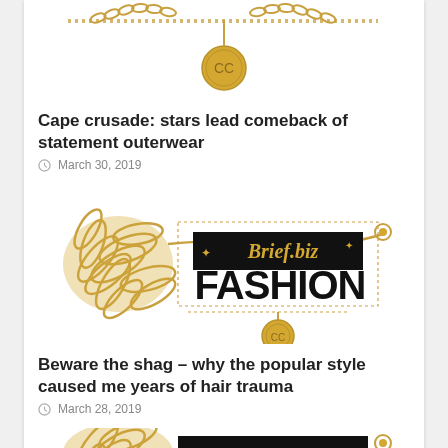[Figure (illustration): Gold jewelry chain with medallion pendant on white background, partially cropped at top]
Cape crusade: stars lead comeback of statement outerwear
March 30, 2019
[Figure (logo): Brief.biz FASHION logo overlaid on gold jewelry chains on white background]
Beware the shag – why the popular style caused me years of hair trauma
March 28, 2019
[Figure (illustration): Gold jewelry chain with Brief.biz logo, partially cropped at bottom]